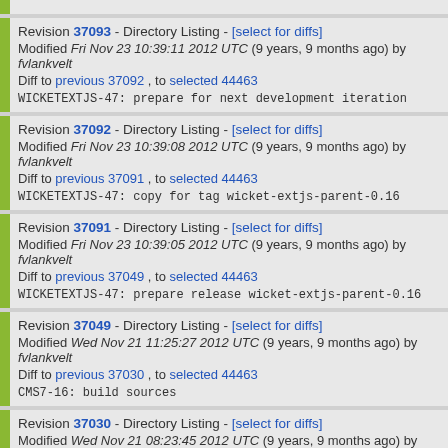Revision 37093 - Directory Listing - [select for diffs]
Modified Fri Nov 23 10:39:11 2012 UTC (9 years, 9 months ago) by fvlankvelt
Diff to previous 37092 , to selected 44463
WICKETEXTJS-47: prepare for next development iteration
Revision 37092 - Directory Listing - [select for diffs]
Modified Fri Nov 23 10:39:08 2012 UTC (9 years, 9 months ago) by fvlankvelt
Diff to previous 37091 , to selected 44463
WICKETEXTJS-47:  copy for tag wicket-extjs-parent-0.16
Revision 37091 - Directory Listing - [select for diffs]
Modified Fri Nov 23 10:39:05 2012 UTC (9 years, 9 months ago) by fvlankvelt
Diff to previous 37049 , to selected 44463
WICKETEXTJS-47: prepare release wicket-extjs-parent-0.16
Revision 37049 - Directory Listing - [select for diffs]
Modified Wed Nov 21 11:25:27 2012 UTC (9 years, 9 months ago) by fvlankvelt
Diff to previous 37030 , to selected 44463
CMS7-16: build sources
Revision 37030 - Directory Listing - [select for diffs]
Modified Wed Nov 21 08:23:45 2012 UTC (9 years, 9 months ago) by mdenburger
Diff to previous 37026 , to selected 44463